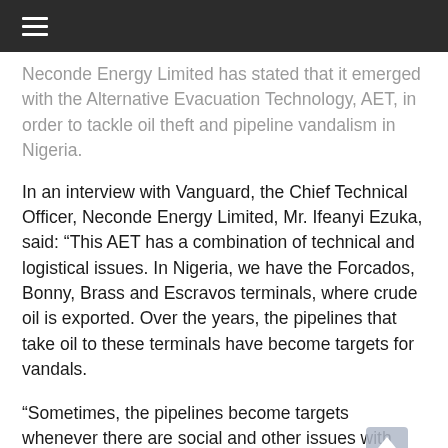≡
Neconde Energy Limited has stated that it emerged with the Alternative Evacuation Technology, AET, in order to tackle oil theft and pipeline vandalism in Nigeria.
In an interview with Vanguard, the Chief Technical Officer, Neconde Energy Limited, Mr. Ifeanyi Ezuka, said: “This AET has a combination of technical and logistical issues. In Nigeria, we have the Forcados, Bonny, Brass and Escravos terminals, where crude oil is exported. Over the years, the pipelines that take oil to these terminals have become targets for vandals.
“Sometimes, the pipelines become targets whenever there are social and other issues with stakeholders, especially the government and